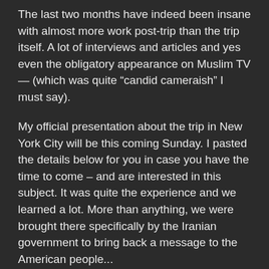The last two months have indeed been insane with almost more work post-trip than the trip itself. A lot of interviews and articles and yes even the obligatory appearance on Muslim TV — (which was quite “candid cameraish” I must say).
My official presentation about the trip in New York City will be this coming Sunday. I pasted the details below for you in case you have the time to come – and are interested in this subject. It was quite the experience and we learned a lot. More than anything, we were brought there specifically by the Iranian government to bring back a message to the American people...
So that is why we do these interviews and presentations. It isn't necessarily a “perfect message.” But it is a real message – as opposed to what we hear on the